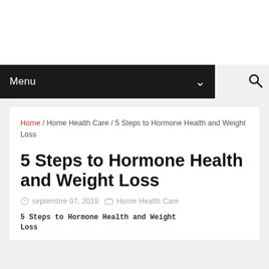Menu
Home / Home Health Care / 5 Steps to Hormone Health and Weight Loss
5 Steps to Hormone Health and Weight Loss
septembre 07, 2019  Home Health Care
5 Steps to Hormone Health and Weight Loss